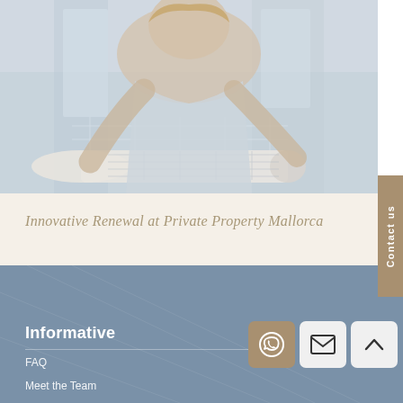[Figure (photo): Person leaning over a rolled architectural or technical drawing/blueprint on a desk, viewed from above. Background shows an office or indoor setting with glass surfaces.]
Innovative Renewal at Private Property Mallorca
Informative
FAQ
Meet the Team